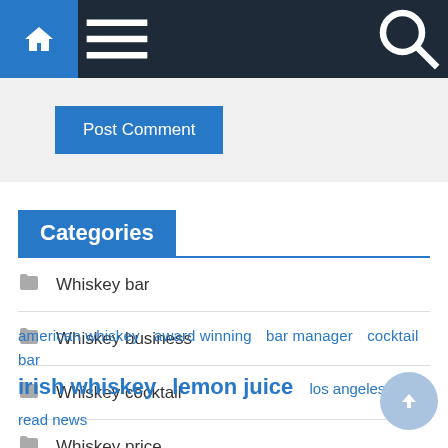Navigation bar with home, menu, and search icons
Post Comment
Categories
Whiskey bar
Whiskey business
Whiskey cocktail
Whiskey price
american whiskey  award winning  bar manager  cocktail bar  irish whiskey  lemon juice  los angeles  read news